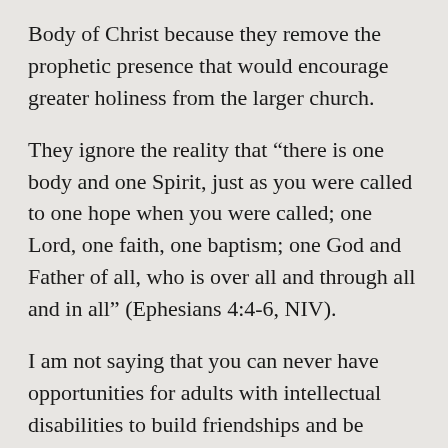Body of Christ because they remove the prophetic presence that would encourage greater holiness from the larger church.
They ignore the reality that “there is one body and one Spirit, just as you were called to one hope when you were called; one Lord, one faith, one baptism; one God and Father of all, who is over all and through all and in all” (Ephesians 4:4-6, NIV).
I am not saying that you can never have opportunities for adults with intellectual disabilities to build friendships and be discipled amongst other adults with intellectual disabilities. In just the same way that you might have a women’s Bible study that does not replace involvement in regular Sunday worship services, you can have rich, audience-specific Bible study for adults with intellectual disabilities. Just don’t